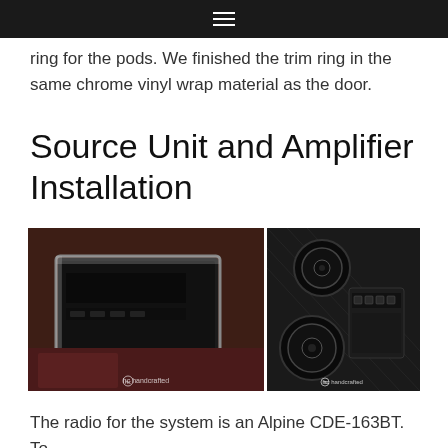☰
ring for the pods. We finished the trim ring in the same chrome vinyl wrap material as the door.
Source Unit and Amplifier Installation
[Figure (photo): Two side-by-side photos: left shows a car dashboard with a head unit installed in chrome trim; right shows speakers and an amplifier mounted in a vehicle trunk or panel area. Both photos have 'hc handcrafted' watermarks.]
The radio for the system is an Alpine CDE-163BT. To